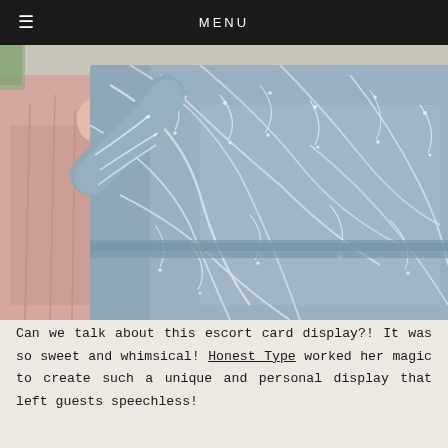MENU
[Figure (photo): Close-up back view of a woman wearing a blue-grey floral patterned jacket/dress with silver embroidery and embellishments, next to a person in a pink dress, outdoor setting]
Can we talk about this escort card display?! It was so sweet and whimsical! Honest Type worked her magic to create such a unique and personal display that left guests speechless!